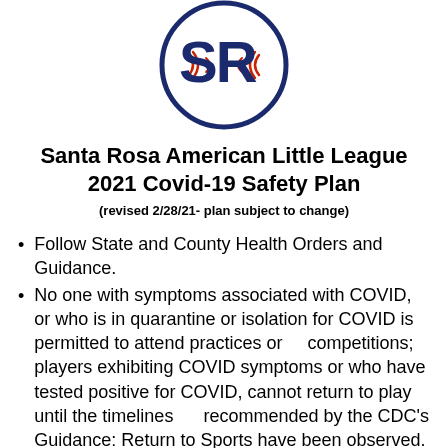[Figure (logo): Santa Rosa American Little League logo — circular design with baseball stitching and stylized letters 'SR' in navy blue and red]
Santa Rosa American Little League 2021 Covid-19 Safety Plan
(revised 2/28/21- plan subject to change)
Follow State and County Health Orders and Guidance.
No one with symptoms associated with COVID, or who is in quarantine or isolation for COVID is permitted to attend practices or    competitions; players exhibiting COVID symptoms or who have tested positive for COVID, cannot return to play until the timelines     recommended by the CDC's Guidance: Return to Sports have been observed.
Face coverings to be worn by coaches, support staff